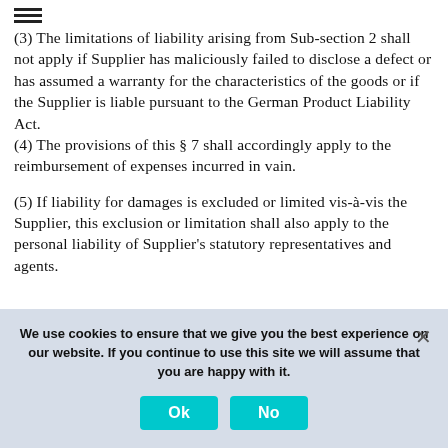[Figure (other): Hamburger menu icon (three horizontal lines)]
(3) The limitations of liability arising from Sub-section 2 shall not apply if Supplier has maliciously failed to disclose a defect or has assumed a warranty for the characteristics of the goods or if the Supplier is liable pursuant to the German Product Liability Act. (4) The provisions of this § 7 shall accordingly apply to the reimbursement of expenses incurred in vain.
(5) If liability for damages is excluded or limited vis-à-vis the Supplier, this exclusion or limitation shall also apply to the personal liability of Supplier's statutory representatives and agents.
We use cookies to ensure that we give you the best experience on our website. If you continue to use this site we will assume that you are happy with it.